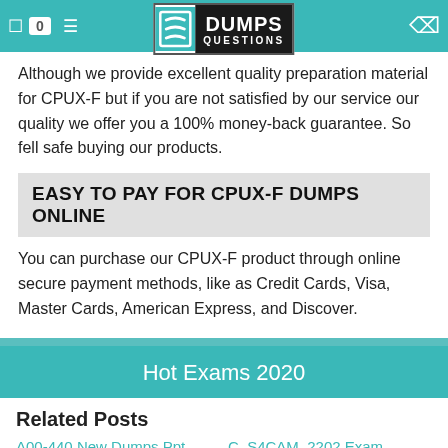0  [navigation] DUMPS QUESTIONS
Although we provide excellent quality preparation material for CPUX-F but if you are not satisfied by our service our quality we offer you a 100% money-back guarantee. So fell safe buying our products.
EASY TO PAY FOR CPUX-F DUMPS ONLINE
You can purchase our CPUX-F product through online secure payment methods, like as Credit Cards, Visa, Master Cards, American Express, and Discover.
Hot Exams 2020
Related Posts
A00-440 New Dumps Ppt
C_S4CAM_2202 Exam Sample
CFE-Law Valid Test Guide
Study AD0-E213 Demo
Exam Topics 350-801 Pdf
C_THR88_2205 Pdf
Valid N10-008 Exam Tutorial